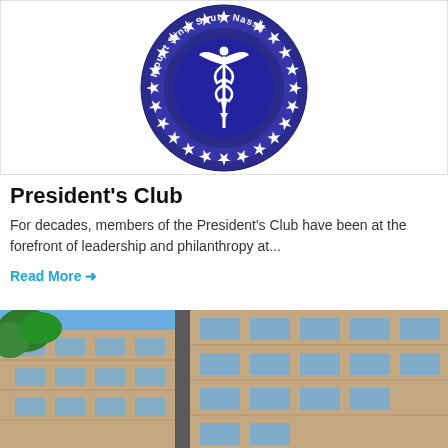[Figure (logo): Mount Sinai South Nassau circular seal/logo with caduceus symbol in dark navy blue]
President's Club
For decades, members of the President's Club have been at the forefront of leadership and philanthropy at...
Read More →
[Figure (photo): Exterior photo of a modern brick and glass multi-story building against a blue sky with trees visible]